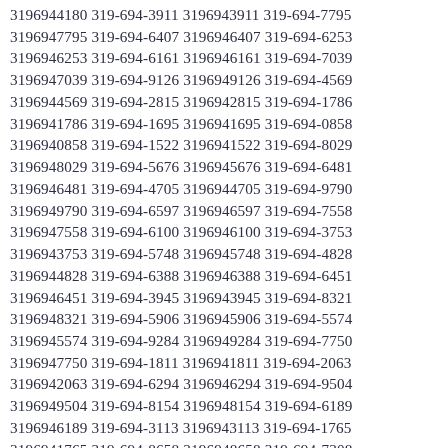3196944180 319-694-3911 3196943911 319-694-7795 3196947795 319-694-6407 3196946407 319-694-6253 3196946253 319-694-6161 3196946161 319-694-7039 3196947039 319-694-9126 3196949126 319-694-4569 3196944569 319-694-2815 3196942815 319-694-1786 3196941786 319-694-1695 3196941695 319-694-0858 3196940858 319-694-1522 3196941522 319-694-8029 3196948029 319-694-5676 3196945676 319-694-6481 3196946481 319-694-4705 3196944705 319-694-9790 3196949790 319-694-6597 3196946597 319-694-7558 3196947558 319-694-6100 3196946100 319-694-3753 3196943753 319-694-5748 3196945748 319-694-4828 3196944828 319-694-6388 3196946388 319-694-6451 3196946451 319-694-3945 3196943945 319-694-8321 3196948321 319-694-5906 3196945906 319-694-5574 3196945574 319-694-9284 3196949284 319-694-7750 3196947750 319-694-1811 3196941811 319-694-2063 3196942063 319-694-6294 3196946294 319-694-9504 3196949504 319-694-8154 3196948154 319-694-6189 3196946189 319-694-3113 3196943113 319-694-1765 3196941765 319-694-8658 3196948658 319-694-7308 3196947308 319-694-8766 3196948766 319-694-3548 3196943548 319-694-4616 3196944616 319-694-2175 3196942175 319-694-6102 3196946102 319-694-7330 3196947330 319-694-9108 3196949108 319-694-0221